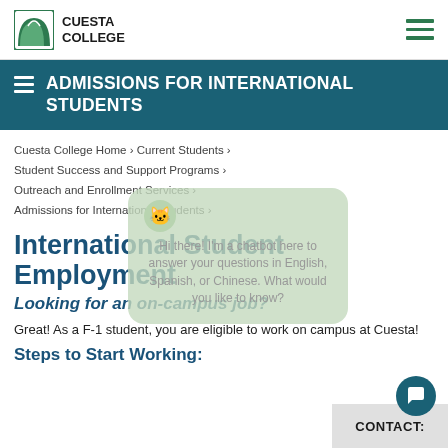Cuesta College
ADMISSIONS FOR INTERNATIONAL STUDENTS
Cuesta College Home › Current Students › Student Success and Support Programs › Outreach and Enrollment Services › Admissions for International Students ›
International Student Employment
Looking for an on-campus job?
Great!  As a F-1 student, you are eligible to work on campus at Cuesta!
Steps to Start Working:
CONTACT: